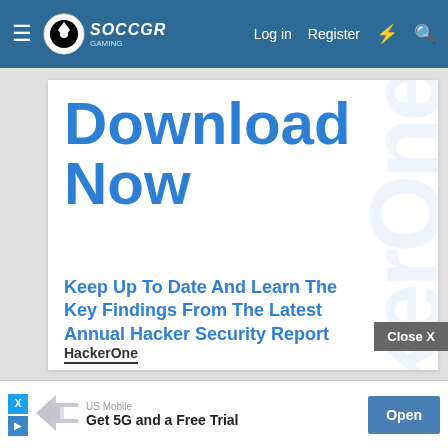Soccer Gaming — Log in   Register
Download Now
Keep Up To Date And Learn The Key Findings From The Latest Annual Hacker Security Report
HackerOne
Close X
[Figure (screenshot): Mobile advertisement bar for US Mobile: Get 5G and a Free Trial with Open button]
US Mobile
Get 5G and a Free Trial
Open